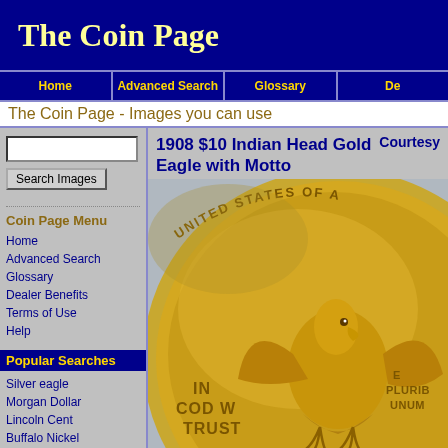The Coin Page
Home | Advanced Search | Glossary | De...
The Coin Page - Images you can use
Search Images
Coin Page Menu
Home
Advanced Search
Glossary
Dealer Benefits
Terms of Use
Help
Popular Searches
Silver eagle
Morgan Dollar
Lincoln Cent
Buffalo Nickel
Mercury Dime
State Quarter
Commemorative Half
Gold Eagle
Roosevelt Dime
1908 $10 Indian Head Gold Eagle with Motto
Courtesy
[Figure (photo): Close-up photograph of the reverse of a 1908 $10 Indian Head Gold Eagle coin showing an eagle, the text UNITED STATES OF A..., E PLURIBUS UNUM, IN GOD WE TRUST]